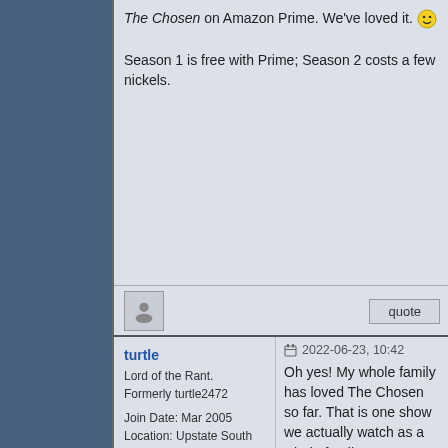The Chosen on Amazon Prime. We've loved it. :) Season 1 is free with Prime; Season 2 costs a few nickels.
turtle
Lord of the Rant.
Formerly turtle2472
Join Date: Mar 2005
Location: Upstate South Carolina
2022-06-23, 10:42
Oh yes! My whole family has loved The Chosen so far. That is one show we actually watch as a whole family. We are REALLY looking forward to the next season. We found it last year at some point. So well done.
Louis L'Amour, "To make democracy work, we must be a notion of participants, not simply observers. One who does not vote has no right to complain" MineCraft? mc.applenova.com | Visit us! | Maybe someday I'll proof read, until then deal with it.